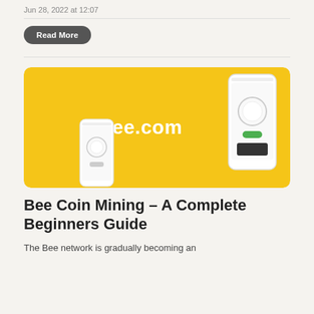Jun 28, 2022 at 12:07
Read More
[Figure (screenshot): Bee.com promotional banner showing two smartphone mockups on a yellow background with the text 'Bee.com' displayed prominently in white]
Bee Coin Mining – A Complete Beginners Guide
The Bee network is gradually becoming an